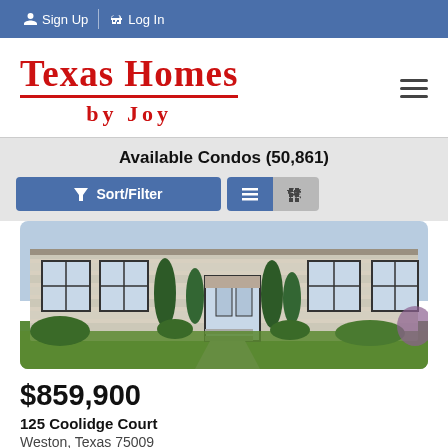Sign Up  Log In
Texas Homes by Joy
Available Condos (50,861)
Sort/Filter
[Figure (photo): Exterior front view of a modern single-story home with light stone/brick facade, dark-framed windows, manicured lawn and landscaping with cypress trees and shrubs.]
$859,900
125 Coolidge Court
Weston, Texas 75009